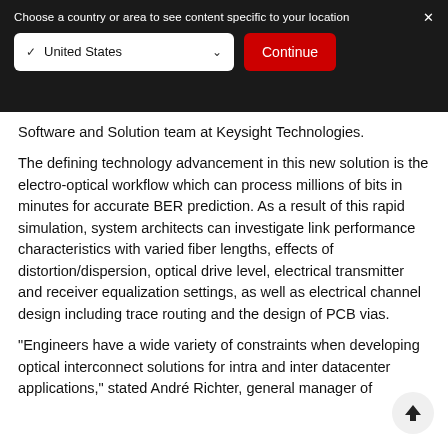[Figure (screenshot): Dark modal banner with country selector dropdown showing 'United States' with checkmark and chevron, and a red 'Continue' button. Close (×) button in top right corner. White text reads: 'Choose a country or area to see content specific to your location']
Software and Solution team at Keysight Technologies.
The defining technology advancement in this new solution is the electro-optical workflow which can process millions of bits in minutes for accurate BER prediction. As a result of this rapid simulation, system architects can investigate link performance characteristics with varied fiber lengths, effects of distortion/dispersion, optical drive level, electrical transmitter and receiver equalization settings, as well as electrical channel design including trace routing and the design of PCB vias.
"Engineers have a wide variety of constraints when developing optical interconnect solutions for intra and inter datacenter applications," stated André Richter, general manager of